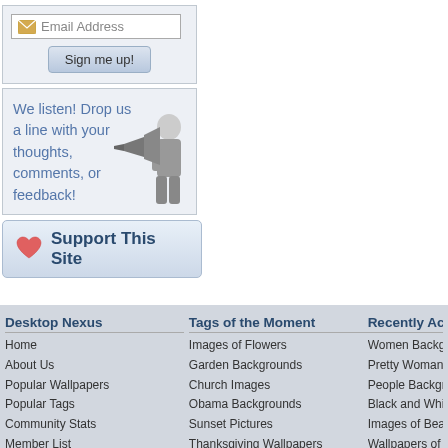[Figure (screenshot): Email Address input field with envelope icon and Sign me up! button on gray background]
[Figure (illustration): Gray box with text 'We listen! Drop us a line with your thoughts, comments, or feedback!' and a black and white photo of a man with a megaphone]
[Figure (screenshot): Support This Site button with red heart icon on light blue/gray gradient background]
Desktop Nexus
Home
About Us
Popular Wallpapers
Popular Tags
Community Stats
Member List
Contact Us
Tags of the Moment
Images of Flowers
Garden Backgrounds
Church Images
Obama Backgrounds
Sunset Pictures
Thanksgiving Wallpapers
Christmas Wallpapers
Recently Active
Women Backgro...
Pretty Woman Ba...
People Backgrou...
Black and White...
Images of Beaut...
Wallpapers of Re...
Color on Black In...
Privacy Policy 🔒 | Terms of Service | Partnerships | DMCA Copyright Violation
© Desktop Nexus - All rights reserved.
Page rendered with 6 queries (and 0 cached) in 0.096 seconds from server 84.